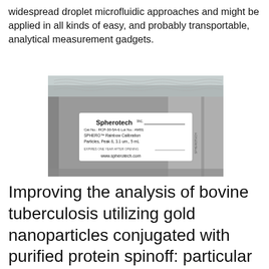widespread droplet microfluidic approaches and might be applied in all kinds of easy, and probably transportable, analytical measurement gadgets.
[Figure (photo): Photograph of a foil packaging bag with a Spherotech Inc. label reading: Cat No.: RCP-30-5A-6, Lot No.: AM01, SPHERO™ Rainbow Calibration Particles, Peak 6, 3.1 um., 5 mL. Expires one year after opening. www.spherotech.com]
Improving the analysis of bovine tuberculosis utilizing gold nanoparticles conjugated with purified protein spinoff: particular regard to staphylococcal protein A and streptococcal protein G